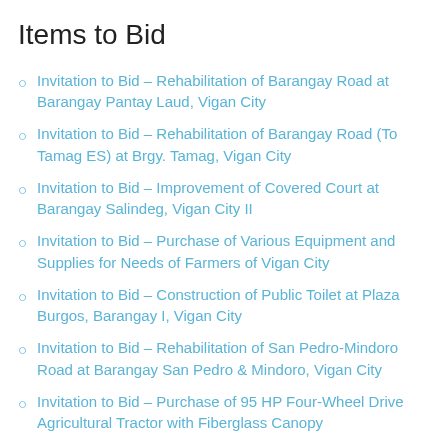Items to Bid
Invitation to Bid – Rehabilitation of Barangay Road at Barangay Pantay Laud, Vigan City
Invitation to Bid – Rehabilitation of Barangay Road (To Tamag ES) at Brgy. Tamag, Vigan City
Invitation to Bid – Improvement of Covered Court at Barangay Salindeg, Vigan City II
Invitation to Bid – Purchase of Various Equipment and Supplies for Needs of Farmers of Vigan City
Invitation to Bid – Construction of Public Toilet at Plaza Burgos, Barangay I, Vigan City
Invitation to Bid – Rehabilitation of San Pedro-Mindoro Road at Barangay San Pedro & Mindoro, Vigan City
Invitation to Bid – Purchase of 95 HP Four-Wheel Drive Agricultural Tractor with Fiberglass Canopy
Invitation to Bid – Supply and Installation of Multi-Pass Rice